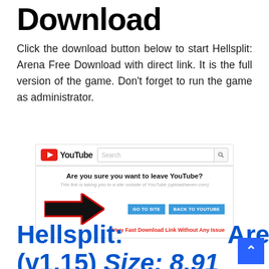Download
Click the download button below to start Hellsplit: Arena Free Download with direct link. It is the full version of the game. Don't forget to run the game as administrator.
[Figure (screenshot): Screenshot of a YouTube leave-site confirmation dialog with a large black arrow pointing to the 'GO TO SITE' button, and a red caption 'Very Fast Download Link Without Any Issue']
Hellsplit: Arena (v1.15) Size: 8.91 GB